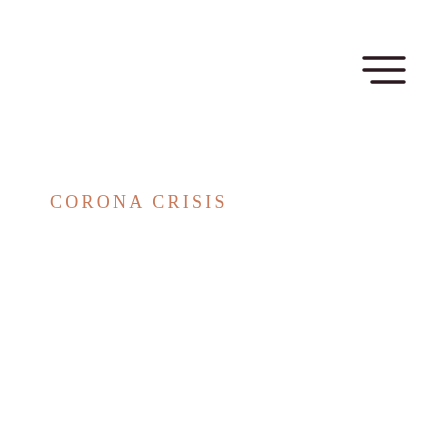[Figure (other): Hamburger menu icon — three horizontal dark lines in the upper right corner]
CORONA CRISIS